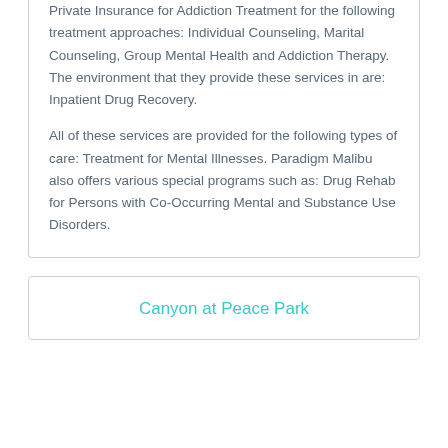Private Insurance for Addiction Treatment for the following treatment approaches: Individual Counseling, Marital Counseling, Group Mental Health and Addiction Therapy. The environment that they provide these services in are: Inpatient Drug Recovery.
All of these services are provided for the following types of care: Treatment for Mental Illnesses. Paradigm Malibu also offers various special programs such as: Drug Rehab for Persons with Co-Occurring Mental and Substance Use Disorders.
Canyon at Peace Park